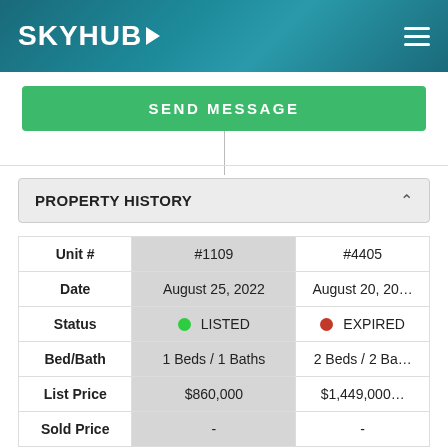SKYHUB
SEND MESSAGE
PROPERTY HISTORY
|  | #1109 | #4405 |
| --- | --- | --- |
| Unit # | #1109 | #4405 |
| Date | August 25, 2022 | August 20, 20... |
| Status | LISTED | EXPIRED |
| Bed/Bath | 1 Beds / 1 Baths | 2 Beds / 2 Ba... |
| List Price | $860,000 | $1,449,000 |
| Sold Price | - | - |